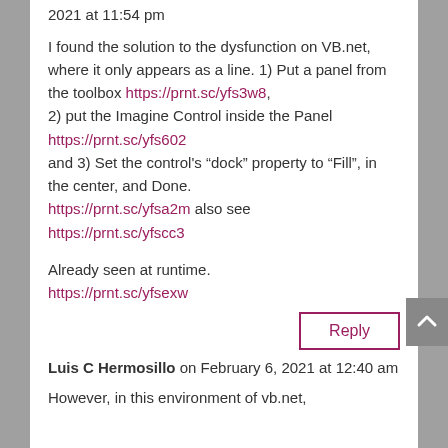2021 at 11:54 pm
I found the solution to the dysfunction on VB.net, where it only appears as a line. 1) Put a panel from the toolbox https://prnt.sc/yfs3w8, 2) put the Imagine Control inside the Panel https://prnt.sc/yfs602 and 3) Set the control's “dock” property to “Fill”, in the center, and Done. https://prnt.sc/yfsa2m also see https://prnt.sc/yfscc3
Already seen at runtime.
https://prnt.sc/yfsexw
Reply
Luis C Hermosillo on February 6, 2021 at 12:40 am
However, in this environment of vb.net,